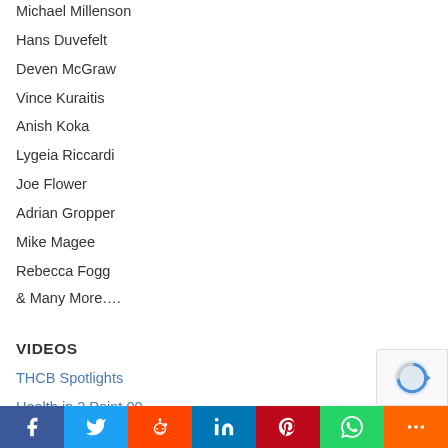Michael Millenson
Hans Duvefelt
Deven McGraw
Vince Kuraitis
Anish Koka
Lygeia Riccardi
Joe Flower
Adrian Gropper
Mike Magee
Rebecca Fogg
& Many More….
VIDEOS
THCB Spotlights
Health in 2 Point 00
WTF Health Show
PODCASTS
The Health Care Blog's Podcast